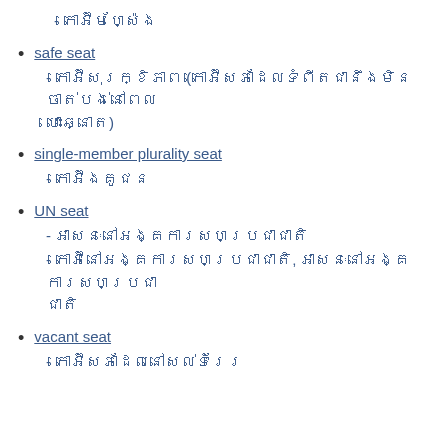- កោអ៊ីមហ្ស៉ែង
safe seat
- កោអ៊ីសុរក្ខិភាព (កោអ៊ីសភាដែលទំពីតជានឹងមិនចាត់បង់នៅពេលបោះឆ្នោត)
single-member plurality seat
- កោអ៊ីងគូជន
UN seat
- អាសនៈនៅអង្គការសហប្រជាជាតិ
- កោអ៊ីនៅអង្គការសហប្រជាជាតិ, អាសនៈនៅអង្គការសហប្រជាជាតិ
vacant seat
- កោអ៊ីសភាដែលនៅសល់ទំរែរ